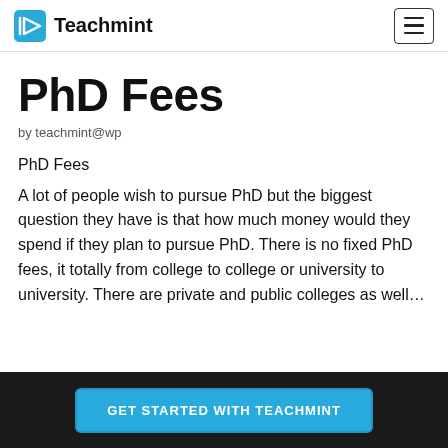Teachmint
PhD Fees
by teachmint@wp
PhD Fees
A lot of people wish to pursue PhD but the biggest question they have is that how much money would they spend if they plan to pursue PhD. There is no fixed PhD fees, it totally from college to college or university to university. There are private and public colleges as well…
GET STARTED WITH TEACHMINT